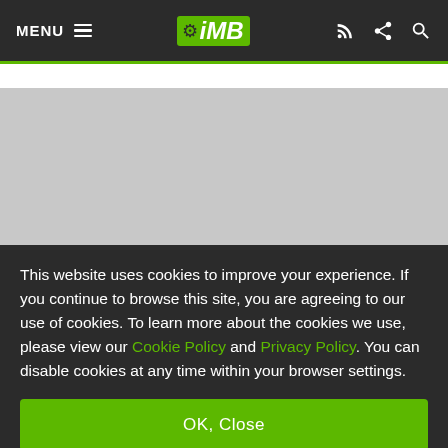MENU  ☰  |  iMB  |  RSS  Share  Search
[Figure (other): Gray placeholder rectangle representing an advertisement or image area below the navigation bar]
This website uses cookies to improve your experience. If you continue to browse this site, you are agreeing to our use of cookies. To learn more about the cookies we use, please view our Cookie Policy and Privacy Policy. You can disable cookies at any time within your browser settings.
OK, Close